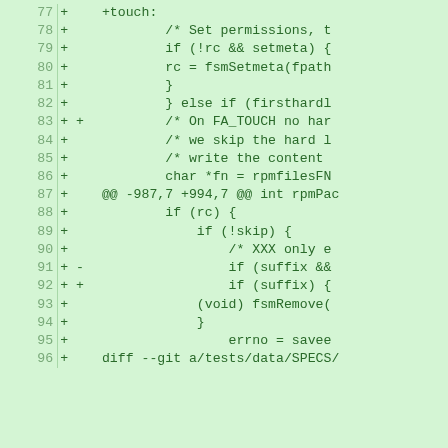[Figure (screenshot): Code diff screenshot showing lines 77-96 of a patch file with green background. Lines show C code additions with +/- markers, including touch handling, permission setting, fsmSetmeta, hardlink logic, and fsmRemove calls.]